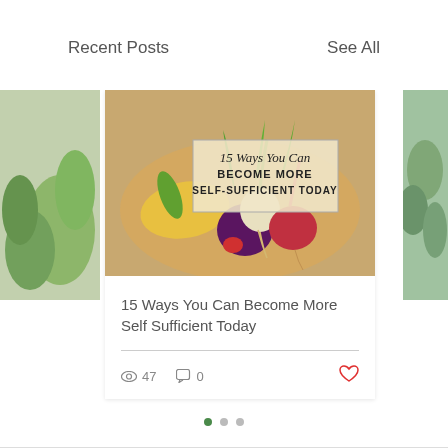Recent Posts
See All
[Figure (photo): Blog post card showing vegetables on a wooden board with text overlay '15 Ways You Can BECOME MORE SELF-SUFFICIENT TODAY']
15 Ways You Can Become More Self Sufficient Today
👁 47  💬 0  ♡